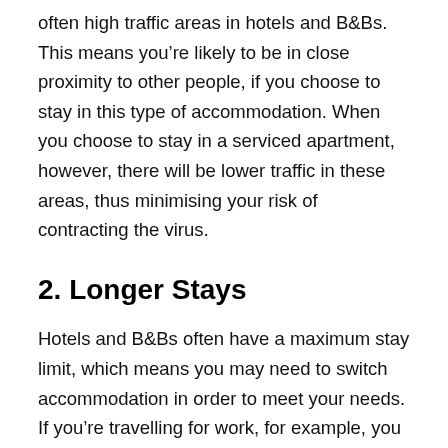often high traffic areas in hotels and B&Bs. This means you're likely to be in close proximity to other people, if you choose to stay in this type of accommodation. When you choose to stay in a serviced apartment, however, there will be lower traffic in these areas, thus minimising your risk of contracting the virus.
2. Longer Stays
Hotels and B&Bs often have a maximum stay limit, which means you may need to switch accommodation in order to meet your needs. If you're travelling for work, for example, you might want to book accommodation for a fortnight, month or even longer. When you arrange your stay at a serviced apartment, you can book a longer stay and avoid the need to change rooms or travel to a different hotel. Not only does this maximise